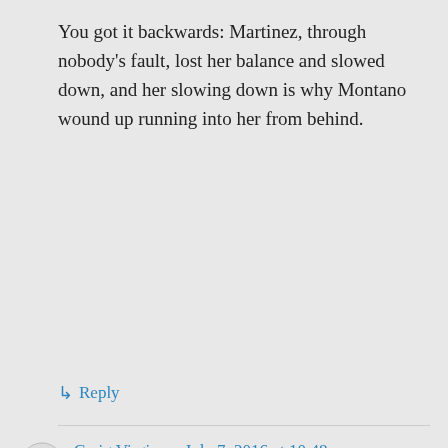You got it backwards: Martinez, through nobody's fault, lost her balance and slowed down, and her slowing down is why Montano wound up running into her from behind.
↳ Reply
Craig Virgin on July 7, 2016 at 10:48 am
👍 1 👎 0 ℹ Rate This
I have watched it time and again and not sure I can agree with you.... but just like on MLB instant replay…